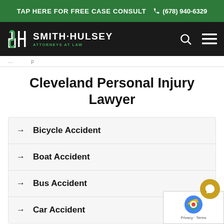TAP HERE FOR FREE CASE CONSULT  ☎ (678) 940-6329
[Figure (logo): Smith-Hulsey Attorneys at Law logo on black navigation bar with search and menu icons]
Cleveland Personal Injury Lawyer
Bicycle Accident
Boat Accident
Bus Accident
Car Accident